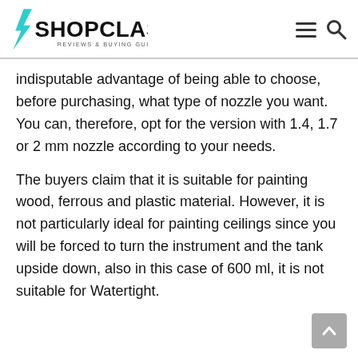SHOPCLASSLA — REVIEWS & BUYING GUIDE
indisputable advantage of being able to choose, before purchasing, what type of nozzle you want. You can, therefore, opt for the version with 1.4, 1.7 or 2 mm nozzle according to your needs.
The buyers claim that it is suitable for painting wood, ferrous and plastic material. However, it is not particularly ideal for painting ceilings since you will be forced to turn the instrument and the tank upside down, also in this case of 600 ml, it is not suitable for Watertight.